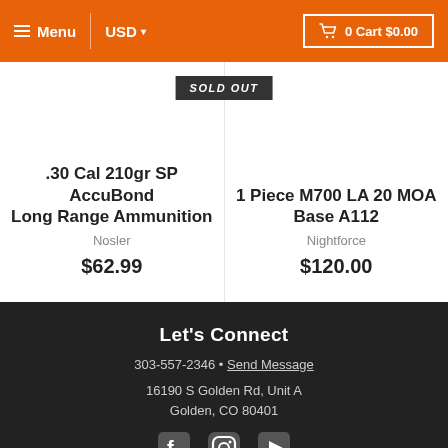Menu | USD ▾ | 0 Cart $0.00
SOLD OUT
.30 Cal 210gr SP AccuBond Long Range Ammunition
Nosler
$62.99
1 Piece M700 LA 20 MOA Base A112
Nightforce
$120.00
Let's Connect
303-557-2346 • Send Message
16190 S Golden Rd, Unit A
Golden, CO 80401
Store Hours